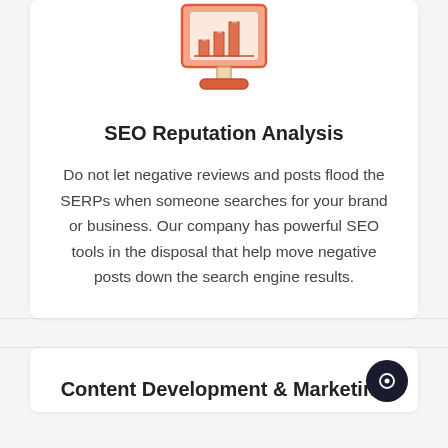[Figure (illustration): A computer monitor icon with an orange/red color scheme displaying a bar chart on screen, with a monitor stand and base, illustrated in flat design style.]
SEO Reputation Analysis
Do not let negative reviews and posts flood the SERPs when someone searches for your brand or business. Our company has powerful SEO tools in the disposal that help move negative posts down the search engine results.
Content Development & Marketing